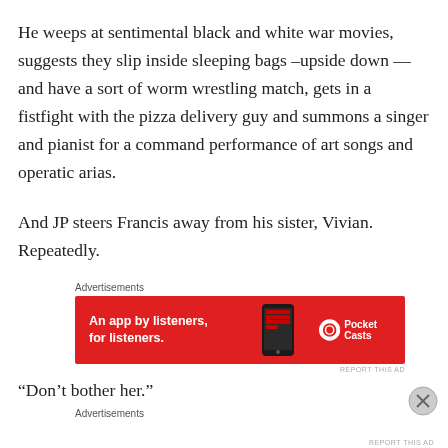He weeps at sentimental black and white war movies, suggests they slip inside sleeping bags –upside down — and have a sort of worm wrestling match, gets in a fistfight with the pizza delivery guy and summons a singer and pianist for a command performance of art songs and operatic arias.
And JP steers Francis away from his sister, Vivian. Repeatedly.
[Figure (infographic): Red advertisement banner for Pocket Casts app reading 'An app by listeners, for listeners.' with phone graphic and Pocket Casts logo on right]
“Don’t bother her.”